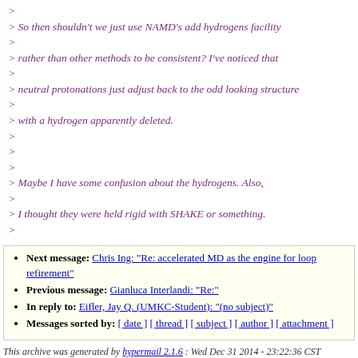> 
> So then shouldn't we just use NAMD's add hydrogens facility
>
> rather than other methods to be consistent? I've noticed that
>
> neutral protonations just adjust back to the odd looking structure
>
> with a hydrogen apparently deleted.
>
>
>
> Maybe I have some confusion about the hydrogens. Also,
>
> I thought they were held rigid with SHAKE or something.
>
Next message: Chris Ing: "Re: accelerated MD as the engine for loop refirement"
Previous message: Gianluca Interlandi: "Re:"
In reply to: Eifler, Jay Q. (UMKC-Student): "(no subject)"
Messages sorted by: [ date ] [ thread ] [ subject ] [ author ] [ attachment ]
This archive was generated by hypermail 2.1.6 : Wed Dec 31 2014 - 23:22:36 CST